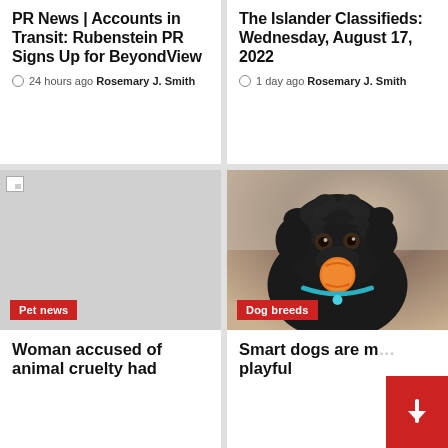PR News | Accounts in Transit: Rubenstein PR Signs Up for BeyondView
24 hours ago  Rosemary J. Smith
The Islander Classifieds: Wednesday, August 17, 2022
1 day ago  Rosemary J. Smith
[Figure (photo): Placeholder image with broken image icon, gray background. Badge reads 'Pet news'.]
[Figure (photo): A black fluffy dog carrying an orange ball in its mouth, wearing a teal collar, on a beach. Badge reads 'Dog breeds'.]
Woman accused of animal cruelty had
Smart dogs are more playful